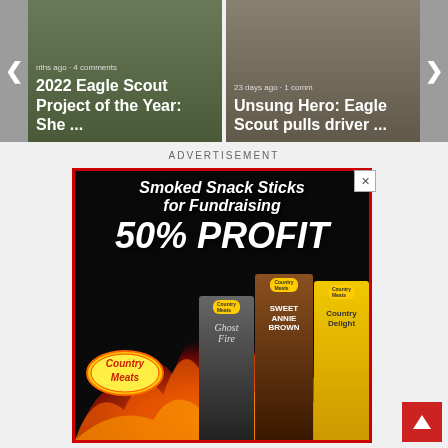[Figure (screenshot): Carousel showing two article cards: '2022 Eagle Scout Project of the Year: She ...' (months ago, 4 comments) and 'Unsung Hero: Eagle Scout pulls driver ...' (23 days ago, 1 comment), with left and right navigation arrows]
ADVERTISEMENT
[Figure (illustration): Advertisement banner for Country Meats: 'Smoked Snack Sticks for Fundraising - 50% PROFIT' with product images of Ghost Fire, Sweet Annie Brown, and Country Delight snack sticks on a dark background with flames and Country Meats logo]